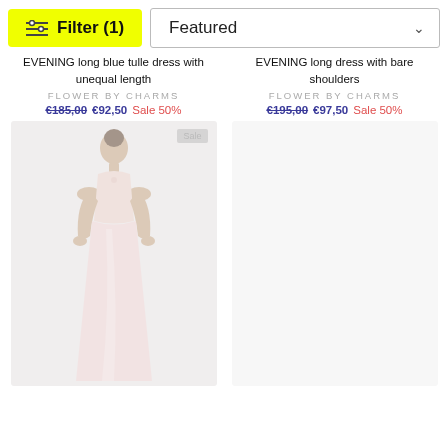Filter (1)
Featured
EVENING long blue tulle dress with unequal length
FLOWER BY CHARMS
€185,00  €92,50  Sale 50%
EVENING long dress with bare shoulders
FLOWER BY CHARMS
€195,00  €97,50  Sale 50%
[Figure (photo): Model wearing a long pale pink evening dress, Sale badge in top right corner]